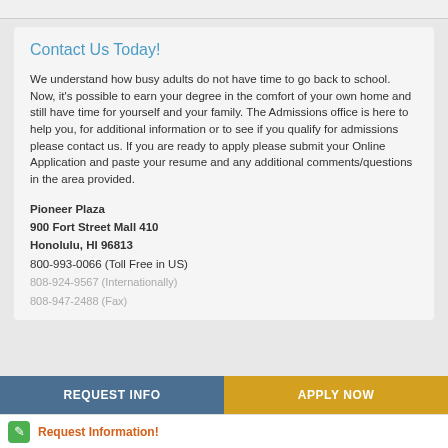Contact Us Today!
We understand how busy adults do not have time to go back to school. Now, it's possible to earn your degree in the comfort of your own home and still have time for yourself and your family. The Admissions office is here to help you, for additional information or to see if you qualify for admissions please contact us. If you are ready to apply please submit your Online Application and paste your resume and any additional comments/questions in the area provided.
Pioneer Plaza
900 Fort Street Mall 410
Honolulu, HI 96813
800-993-0066 (Toll Free in US)
808-924-9567 (Internationally)
808-947-2488 (Fax)
REQUEST INFO
APPLY NOW
Request Information!